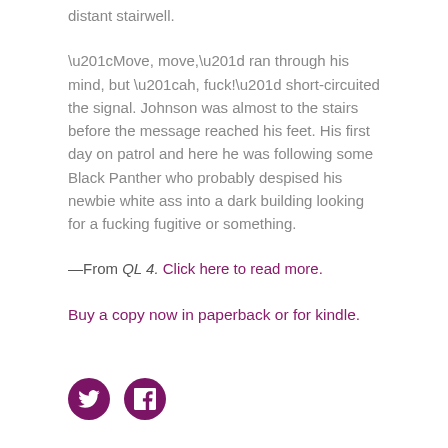distant stairwell.
“Move, move,” ran through his mind, but “ah, fuck!” short-circuited the signal. Johnson was almost to the stairs before the message reached his feet. His first day on patrol and here he was following some Black Panther who probably despised his newbie white ass into a dark building looking for a fucking fugitive or something.
—From QL 4. Click here to read more.
Buy a copy now in paperback or for kindle.
[Figure (illustration): Two circular social media icon buttons: Twitter bird icon and Facebook f icon, both in dark purple/maroon circles]